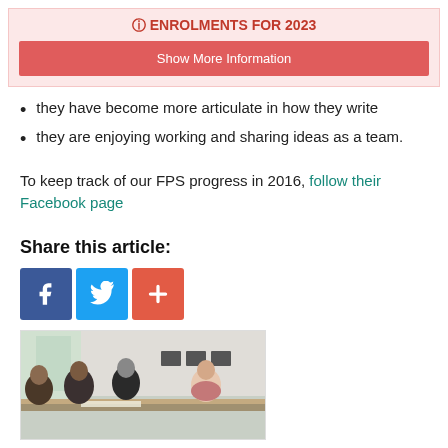ENROLMENTS FOR 2023
Show More Information
they have become more articulate in how they write
they are enjoying working and sharing ideas as a team.
To keep track of our FPS progress in 2016, follow their Facebook page
Share this article:
[Figure (photo): Group of students sitting around a table in a classroom setting]